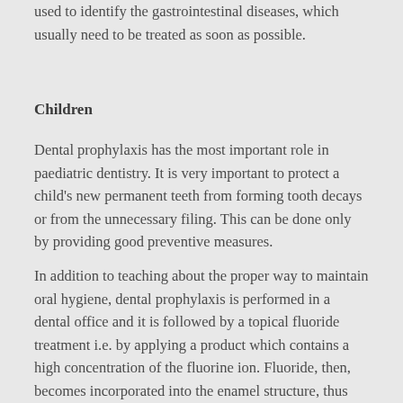used to identify the gastrointestinal diseases, which usually need to be treated as soon as possible.
Children
Dental prophylaxis has the most important role in paediatric dentistry. It is very important to protect a child's new permanent teeth from forming tooth decays or from the unnecessary filing. This can be done only by providing good preventive measures.
In addition to teaching about the proper way to maintain oral hygiene, dental prophylaxis is performed in a dental office and it is followed by a topical fluoride treatment i.e. by applying a product which contains a high concentration of the fluorine ion. Fluoride, then, becomes incorporated into the enamel structure, thus making one's tooth stronger and more resistant to the acid attacks from the bacteria that live in the